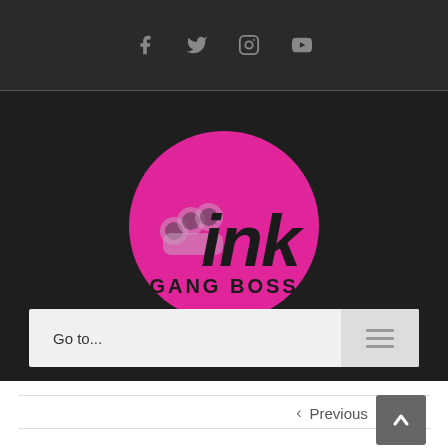Social media icons: Facebook, Twitter, Instagram, YouTube
[Figure (logo): Ink Gang Boss logo — magenta/pink dripping circle with stylized 'ink' text and brass knuckles graphic, GANG BOSS text below, on dark background]
Go to...
Previous  Next